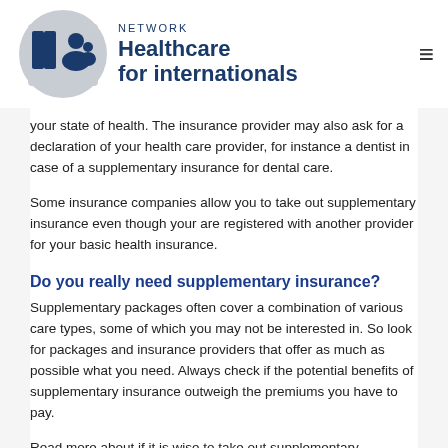NETWORK Healthcare for internationals
your state of health. The insurance provider may also ask for a declaration of your health care provider, for instance a dentist in case of a supplementary insurance for dental care.
Some insurance companies allow you to take out supplementary insurance even though your are registered with another provider for your basic health insurance.
Do you really need supplementary insurance?
Supplementary packages often cover a combination of various care types, some of which you may not be interested in. So look for packages and insurance providers that offer as much as possible what you need. Always check if the potential benefits of supplementary insurance outweigh the premiums you have to pay.
Read more about if it is wise to take out supplementary